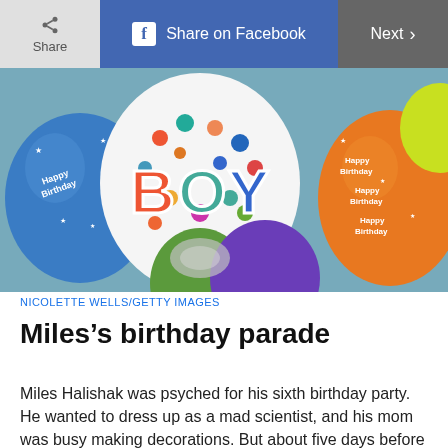Share | Share on Facebook | Next
[Figure (photo): Colorful birthday balloons including a 'BOY' foil balloon, blue 'Happy Birthday' balloons, and orange 'Happy Birthday' balloons.]
NICOLETTE WELLS/GETTY IMAGES
Miles’s birthday parade
Miles Halishak was psyched for his sixth birthday party. He wanted to dress up as a mad scientist, and his mom was busy making decorations. But about five days before mad scientist Miles was planning to greet 40 friends and relatives at the